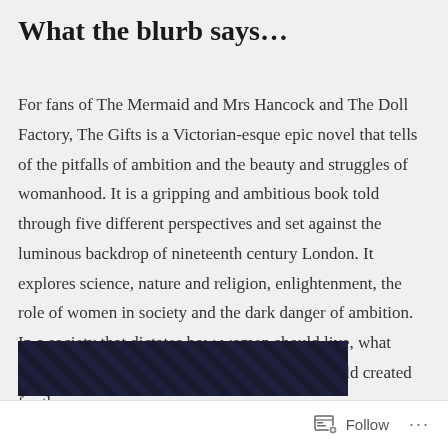What the blurb says…
For fans of The Mermaid and Mrs Hancock and The Doll Factory, The Gifts is a Victorian-esque epic novel that tells of the pitfalls of ambition and the beauty and struggles of womanhood. It is a gripping and ambitious book told through five different perspectives and set against the luminous backdrop of nineteenth century London. It explores science, nature and religion, enlightenment, the role of women in society and the dark danger of ambition. In a society that dictates how women should live, what happens when they start to break out of the mould created for them…
[Figure (photo): Bottom portion of a dark book cover image, partially visible, with dark navy/black background and subtle patterned texture]
Follow ···